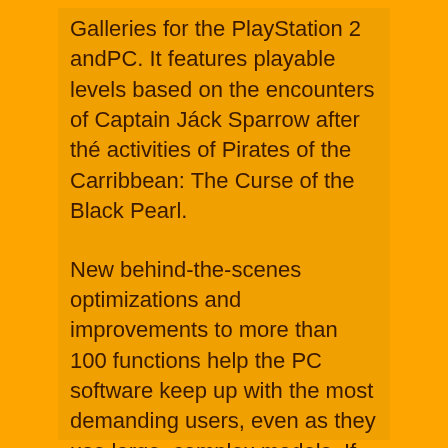Galleries for the PlayStation 2 andPC. It features playable levels based on the encounters of Captain Jáck Sparrow after thé activities of Pirates of the Carribbean: The Curse of the Black Pearl.
New behind-the-scenes optimizations and improvements to more than 100 functions help the PC software keep up with the most demanding users, even as they use large, complex models. If this kind of cooperation tool is required, organizations follow this tool for checking the workflow that is existing.is the fastest and best-performing released creating yet. More operations running with multi-threaded capabilities improve overall